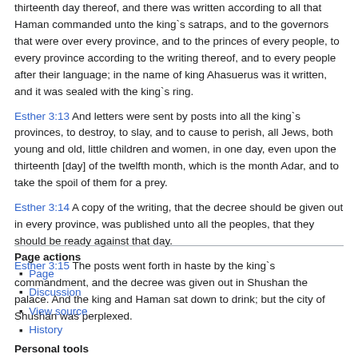thirteenth day thereof, and there was written according to all that Haman commanded unto the king`s satraps, and to the governors that were over every province, and to the princes of every people, to every province according to the writing thereof, and to every people after their language; in the name of king Ahasuerus was it written, and it was sealed with the king`s ring.
Esther 3:13 And letters were sent by posts into all the king`s provinces, to destroy, to slay, and to cause to perish, all Jews, both young and old, little children and women, in one day, even upon the thirteenth [day] of the twelfth month, which is the month Adar, and to take the spoil of them for a prey.
Esther 3:14 A copy of the writing, that the decree should be given out in every province, was published unto all the peoples, that they should be ready against that day.
Esther 3:15 The posts went forth in haste by the king`s commandment, and the decree was given out in Shushan the palace. And the king and Haman sat down to drink; but the city of Shushan was perplexed.
Page actions
Page
Discussion
View source
History
Personal tools